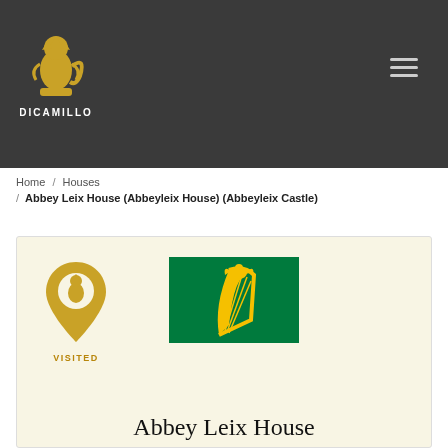[Figure (logo): DiCamillo logo: golden lion/rooster heraldic figure above text DICAMILLO in white caps on dark background]
Home / Houses / Abbey Leix House (Abbeyleix House) (Abbeyleix Castle)
[Figure (logo): Visited badge: golden map pin icon with rooster inside, text VISITED below in gold]
[Figure (illustration): Green flag of Ireland (Province of Leinster) showing golden harp figure on green background]
Abbey Leix House